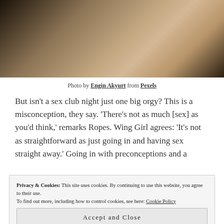[Figure (photo): Close-up photo of a person with blonde hair and rope tied around their wrists/hands against a dark background.]
Photo by Engin Akyurt from Pexels
But isn't a sex club night just one big orgy? This is a misconception, they say. 'There's not as much [sex] as you'd think,' remarks Ropes. Wing Girl agrees: 'It's not as straightforward as just going in and having sex straight away.' Going in with preconceptions and a
Privacy & Cookies: This site uses cookies. By continuing to use this website, you agree to their use.
To find out more, including how to control cookies, see here: Cookie Policy
Accept and Close
before playing with them.